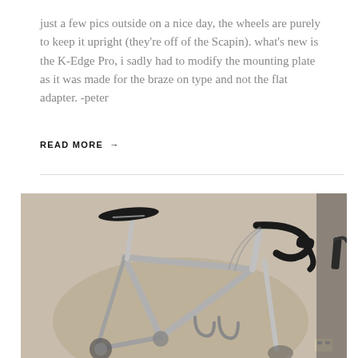just a few pics outside on a nice day, the wheels are purely to keep it upright (they're off of the Scapin). what's new is the K-Edge Pro, i sadly had to modify the mounting plate as it was made for the braze on type and not the flat adapter. -peter
READ MORE →
[Figure (photo): Photograph of a silver road bicycle frame leaning against a wall, showing the saddle, seat post, top tube, down tube, handlebars with drop bars and brake levers on the right side, and a wall-mounted bike hook.]